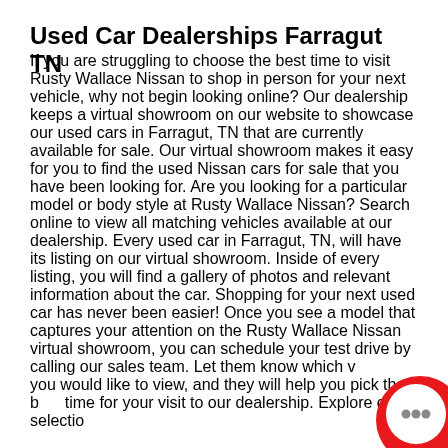Used Car Dealerships Farragut TN
If you are struggling to choose the best time to visit Rusty Wallace Nissan to shop in person for your next vehicle, why not begin looking online? Our dealership keeps a virtual showroom on our website to showcase our used cars in Farragut, TN that are currently available for sale. Our virtual showroom makes it easy for you to find the used Nissan cars for sale that you have been looking for. Are you looking for a particular model or body style at Rusty Wallace Nissan? Search online to view all matching vehicles available at our dealership. Every used car in Farragut, TN, will have its listing on our virtual showroom. Inside of every listing, you will find a gallery of photos and relevant information about the car. Shopping for your next used car has never been easier! Once you see a model that captures your attention on the Rusty Wallace Nissan virtual showroom, you can schedule your test drive by calling our sales team. Let them know which vehicle you would like to view, and they will help you pick the best time for your visit to our dealership. Explore our selection